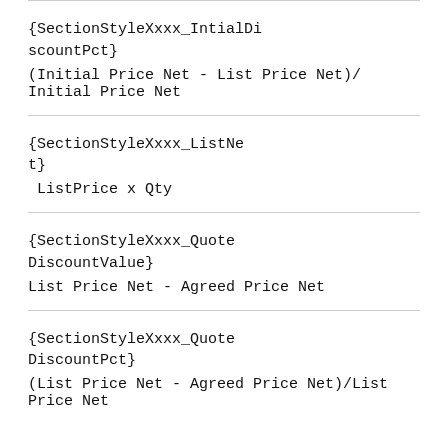{SectionStyleXxxx_IntialDiscountPct}
(Initial Price Net - List Price Net)/ Initial Price Net
{SectionStyleXxxx_ListNet}
 ListPrice x Qty
{SectionStyleXxxx_QuoteDiscountValue}
List Price Net - Agreed Price Net
{SectionStyleXxxx_QuoteDiscountPct}
(List Price Net - Agreed Price Net)/List Price Net